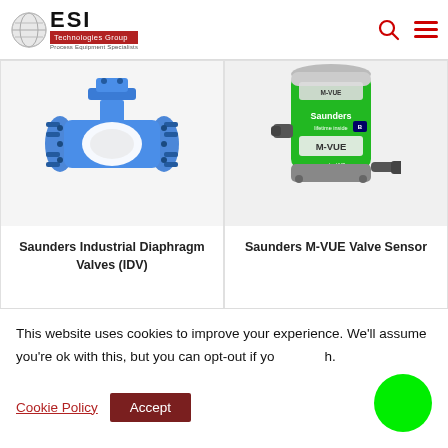ESI Technologies Group — Process Equipment Specialists
[Figure (photo): Saunders Industrial Diaphragm Valve (IDV) — blue flanged diaphragm valve]
Saunders Industrial Diaphragm Valves (IDV)
[Figure (photo): Saunders M-VUE Valve Sensor — green cylindrical sensor device]
Saunders M-VUE Valve Sensor
This website uses cookies to improve your experience. We'll assume you're ok with this, but you can opt-out if you wish.
Cookie Policy
Accept